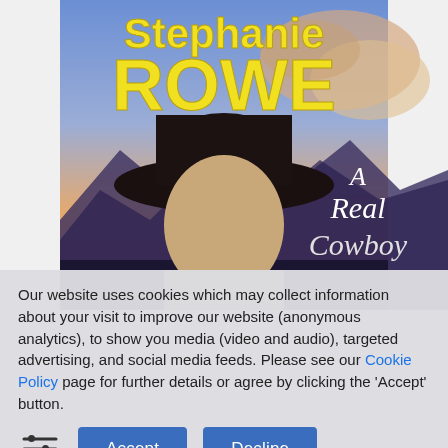[Figure (photo): Book cover of 'A Real Cowboy' by Stephanie Rowe, showing a man in a black cowboy hat against a sunset sky background, with the author name in large yellow text and the book title in white text.]
Our website uses cookies which may collect information about your visit to improve our website (anonymous analytics), to show you media (video and audio), targeted advertising, and social media feeds. Please see our Cookie Policy page for further details or agree by clicking the 'Accept' button.